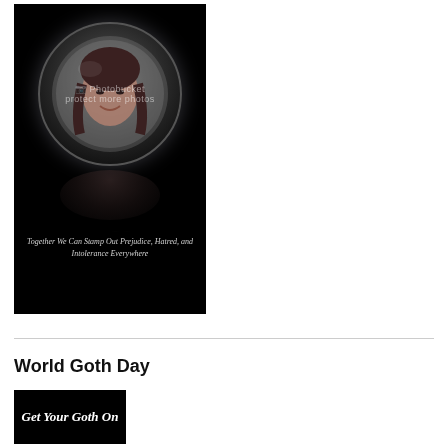[Figure (photo): Black background photo card featuring a woman's face in a glowing circular moon-like orb, with her reflection below, decorative gothic 'sophie' text, and a message: 'Together We Can Stamp Out Prejudice, Hatred, and Intolerance Everywhere'. Photobucket watermark visible.]
Together We Can Stamp Out Prejudice, Hatred, and Intolerance Everywhere
World Goth Day
[Figure (photo): Black banner image with white italic bold text reading 'Get Your Goth On' (partially visible at bottom of page)]